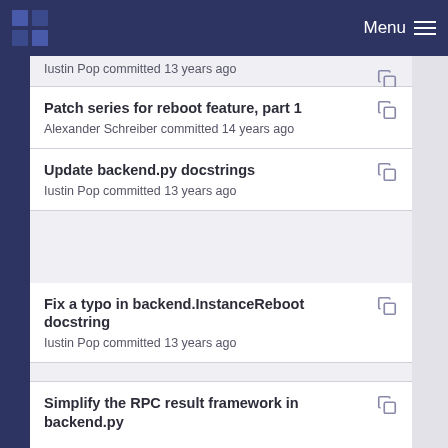Menu
Iustin Pop committed 13 years ago
Patch series for reboot feature, part 1
Alexander Schreiber committed 14 years ago
Update backend.py docstrings
Iustin Pop committed 13 years ago
Fix a typo in backend.InstanceReboot docstring
Iustin Pop committed 13 years ago
Simplify the RPC result framework in backend.py